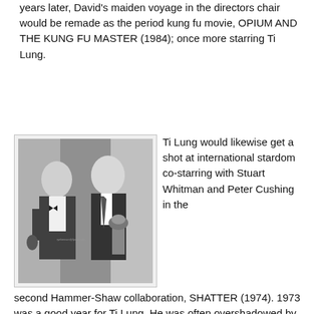years later, David's maiden voyage in the directors chair would be remade as the period kung fu movie, OPIUM AND THE KUNG FU MASTER (1984); once more starring Ti Lung.
[Figure (photo): Black and white photograph of two men in formal attire, one holding a trophy/award, at what appears to be an awards ceremony.]
Ti Lung would likewise get a shot at international stardom co-starring with Stuart Whitman and Peter Cushing in the second Hammer-Shaw collaboration, SHATTER (1974). 1973 was a good year for Ti Lung. He was often overshadowed by David Chiang, but was rewarded with an Outstanding Performance Award at the 11th Annual Golden Horse Awards in October of 1973 for his role in Chang Cheh's classic action-